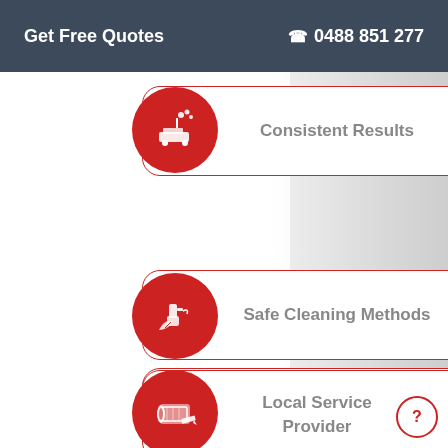Get Free Quotes  ☎ 0488 851 277
[Figure (infographic): Feature card with red circular icon showing carpet cleaning machine with sparkles and text 'Consistent Results']
[Figure (infographic): Feature card with red circular icon showing spray bottle and leaves and text 'Safe Cleaning Methods']
[Figure (infographic): Feature card with red circular icon showing rolled carpet and text 'Prolonged Carpet Life']
[Figure (infographic): Feature card with red circular icon showing person cleaning and text 'Local Service Provider']